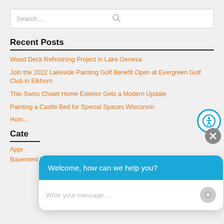Search...
Recent Posts
Wood Deck Refinishing Project in Lake Geneva
Join the 2022 Lakeside Painting Golf Benefit Open at Evergreen Golf Club in Elkhorn
This Swiss Chalet Home Exterior Gets a Modern Update
Painting a Castle Bed for Special Spaces Wisconsin
Hom...
Categories
Appr...
Basement Wainscot Panel
[Figure (screenshot): Chat popup widget with blue header saying 'Welcome, how can we help you?' and white body with placeholder text 'Write your message...' and a send button]
[Figure (other): Blue circular accessibility icon (person in circle) button on right side]
[Figure (other): Gray circular close (X) button on right side]